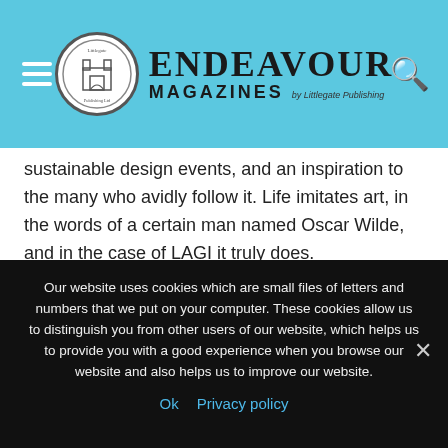[Figure (logo): Endeavour Magazines by Littlegate Publishing header logo with blue background, hamburger menu icon on left, search icon on right, circular Littlegate Publishing logo, and text 'ENDEAVOUR MAGAZINES by Littlegate Publishing']
sustainable design events, and an inspiration to the many who avidly follow it. Life imitates art, in the words of a certain man named Oscar Wilde, and in the case of LAGI it truly does.
If you're wondering how on earth art could make a difference, consider this: art, a powerful form of expression with the proven ability to create movements and stimulate creative dialogue, is the perfect medium through which to work towards
Our website uses cookies which are small files of letters and numbers that we put on your computer. These cookies allow us to distinguish you from other users of our website, which helps us to provide you with a good experience when you browse our website and also helps us to improve our website.
Ok   Privacy policy